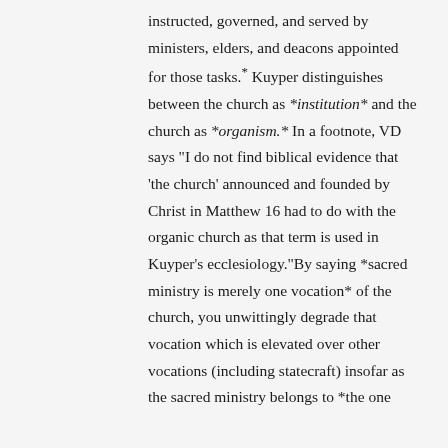instructed, governed, and served by ministers, elders, and deacons appointed for those tasks.* Kuyper distinguishes between the church as *institution* and the church as *organism.* In a footnote, VD says "I do not find biblical evidence that 'the church' announced and founded by Christ in Matthew 16 had to do with the organic church as that term is used in Kuyper's ecclesiology."By saying *sacred ministry is merely one vocation* of the church, you unwittingly degrade that vocation which is elevated over other vocations (including statecraft) insofar as the sacred ministry belongs to *the one